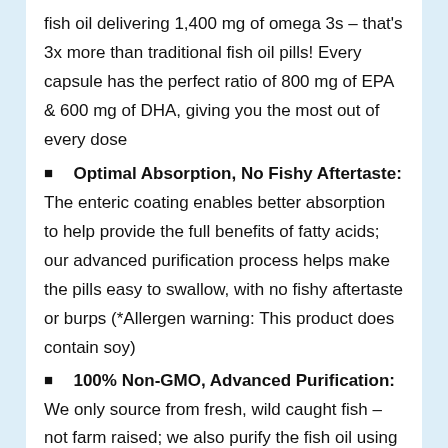fish oil delivering 1,400 mg of omega 3s – that's 3x more than traditional fish oil pills! Every capsule has the perfect ratio of 800 mg of EPA & 600 mg of DHA, giving you the most out of every dose
Optimal Absorption, No Fishy Aftertaste: The enteric coating enables better absorption to help provide the full benefits of fatty acids; our advanced purification process helps make the pills easy to swallow, with no fishy aftertaste or burps (*Allergen warning: This product does contain soy)
100% Non-GMO, Advanced Purification: We only source from fresh, wild caught fish – not farm raised; we also purify the fish oil using molecular distillation to remove heavy metals and PCBs, as well as reduce the risk of other toxins
A Better You Starts Here: Our mission is to encourage